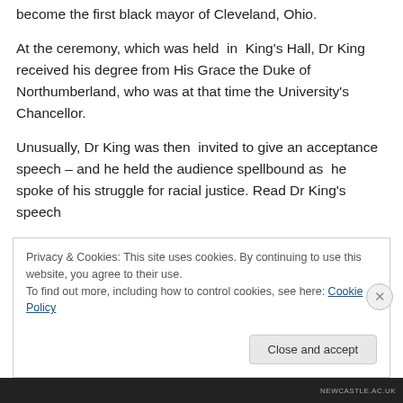become the first black mayor of Cleveland, Ohio.
At the ceremony, which was held in King's Hall, Dr King received his degree from His Grace the Duke of Northumberland, who was at that time the University's Chancellor.
Unusually, Dr King was then invited to give an acceptance speech – and he held the audience spellbound as he spoke of his struggle for racial justice. Read Dr King's speech
Privacy & Cookies: This site uses cookies. By continuing to use this website, you agree to their use.
To find out more, including how to control cookies, see here: Cookie Policy
Close and accept